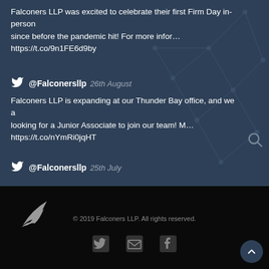Falconers LLP was excited to celebrate their first Firm Day in-person since before the pandemic hit! For more infor… https://t.co/9n1FE6d9by
@Falconersllp 26th August
Falconers LLP is expanding at our Thunder Bay office, and we a looking for a Junior Associate to join our team! M… https://t.co/nYmRi0jqHT
@Falconersllp 25th July
[Figure (logo): Falconers LLP bird logo in white on black footer]
© 2019 Falconers LLP. All rights reserved.
[Figure (infographic): Social media icons: Twitter, Email, Facebook in footer]